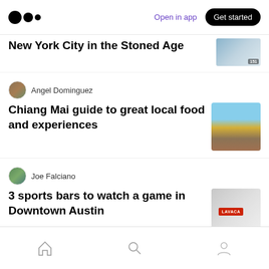Medium logo | Open in app | Get started
New York City in the Stoned Age
Angel Dominguez
Chiang Mai guide to great local food and experiences
Joe Falciano
3 sports bars to watch a game in Downtown Austin
Emilia Erica
The Beauty of Solo Travel
Home | Search | Profile